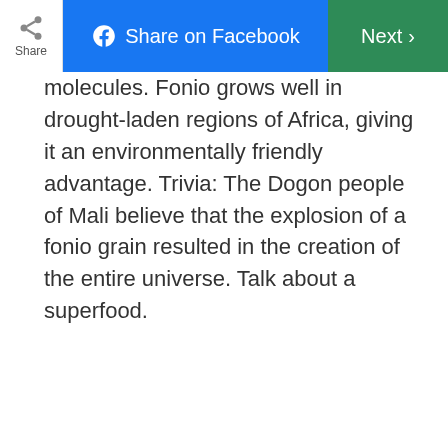Share | Share on Facebook | Next
molecules. Fonio grows well in drought-laden regions of Africa, giving it an environmentally friendly advantage. Trivia: The Dogon people of Mali believe that the explosion of a fonio grain resulted in the creation of the entire universe. Talk about a superfood.
ADVERTISEMENT
[Figure (photo): Split image showing fonio flour in a wooden bowl with a wooden spoon on the left, and raw fonio grains scattered on a gray surface on the right.]